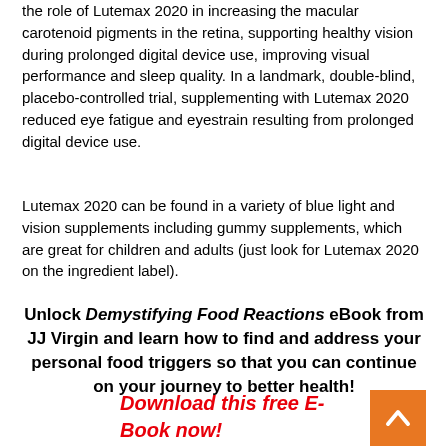the role of Lutemax 2020 in increasing the macular carotenoid pigments in the retina, supporting healthy vision during prolonged digital device use, improving visual performance and sleep quality. In a landmark, double-blind, placebo-controlled trial, supplementing with Lutemax 2020 reduced eye fatigue and eyestrain resulting from prolonged digital device use.
Lutemax 2020 can be found in a variety of blue light and vision supplements including gummy supplements, which are great for children and adults (just look for Lutemax 2020 on the ingredient label).
Unlock Demystifying Food Reactions eBook from JJ Virgin and learn how to find and address your personal food triggers so that you can continue on your journey to better health!
Download this free E-Book now!